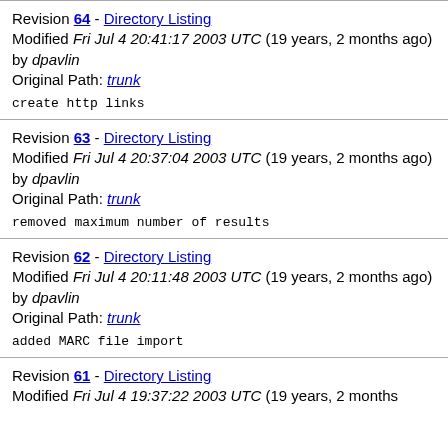Revision 64 - Directory Listing
Modified Fri Jul 4 20:41:17 2003 UTC (19 years, 2 months ago) by dpavlin
Original Path: trunk
create http links
Revision 63 - Directory Listing
Modified Fri Jul 4 20:37:04 2003 UTC (19 years, 2 months ago) by dpavlin
Original Path: trunk
removed maximum number of results
Revision 62 - Directory Listing
Modified Fri Jul 4 20:11:48 2003 UTC (19 years, 2 months ago) by dpavlin
Original Path: trunk
added MARC file import
Revision 61 - Directory Listing
Modified Fri Jul 4 19:37:22 2003 UTC (19 years, 2 months